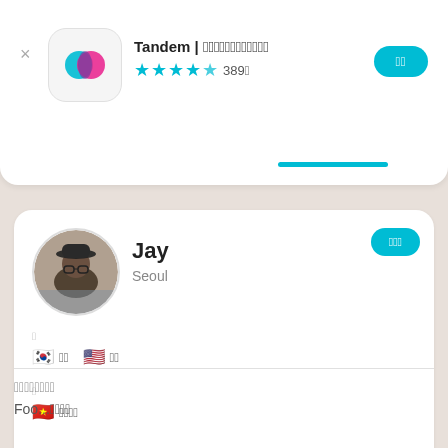[Figure (screenshot): Tandem app icon with overlapping teal and pink circles on white rounded square background]
Tandem | 언어교환 파트너 찾기
★★★★☆ 389개
열기
[Figure (photo): Profile photo of Jay, a young man wearing glasses and a hat, Seoul]
Jay
Seoul
메시지
구
🇰🇷 한국어   🇺🇸 영어
학
🇻🇳 베트남어
나의 관심사 및 소개
Foo...더보기